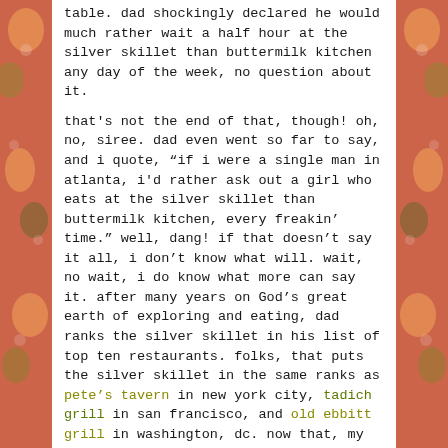table.  dad shockingly declared he would much rather wait a half hour at the silver skillet than buttermilk kitchen any day of the week, no question about it.
that's not the end of that, though!  oh, no, siree.  dad even went so far to say, and i quote, "if i were a single man in atlanta, i'd rather ask out a girl who eats at the silver skillet than buttermilk kitchen, every freakin' time."  well, dang!  if that doesn't say it all, i don't know what will.  wait, no wait, i do know what more can say it.  after many years on God's great earth of exploring and eating, dad ranks the silver skillet in his list of top ten restaurants.  folks, that puts the silver skillet in the same ranks as pete's tavern in new york city, tadich grill in san francisco, and old ebbitt grill in washington, dc.  now that, my friends, is all he wrote.  **mic drop**
spread the words
[Figure (infographic): Social share buttons: Twitter (blue circle), Facebook (blue circle), Email (gray circle)]
[Figure (infographic): Row of thumbnail images at bottom of page]